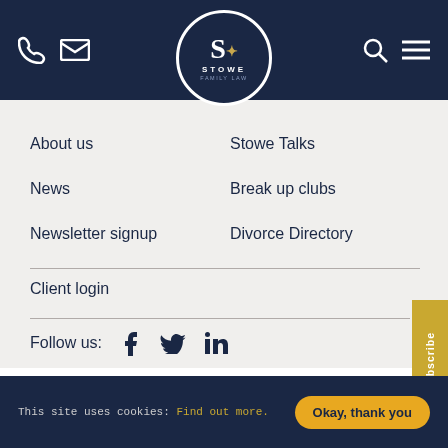Stowe Family Law - header navigation bar with phone, mail, search, menu icons and logo
[Figure (logo): Stowe Family Law circular logo with S monogram in white and gold on dark navy background]
About us
Stowe Talks
News
Break up clubs
Newsletter signup
Divorce Directory
Client login
Follow us:
This site uses cookies: Find out more. Okay, thank you